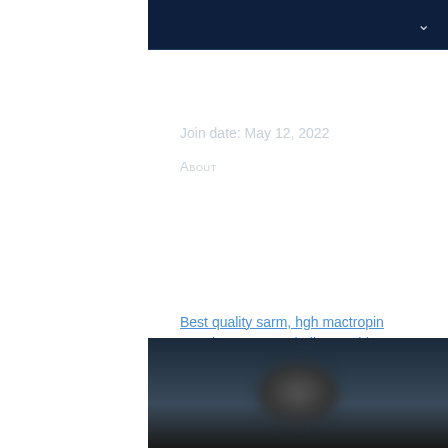Profile
Join date: May 12, 2022
About
Best quality sarm, hgh mactropin ervaring
Best quality sarm, hgh mactropin ervaring - Buy anabolic steroids online
[Figure (photo): Blurred image at the bottom of the page]